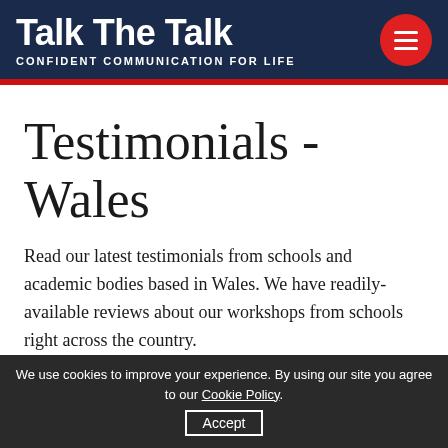Talk The Talk — CONFIDENT COMMUNICATION FOR LIFE
Testimonials - Wales
Read our latest testimonials from schools and academic bodies based in Wales. We have readily-available reviews about our workshops from schools right across the country.
We use cookies to improve your experience. By using our site you agree to our Cookie Policy. Accept